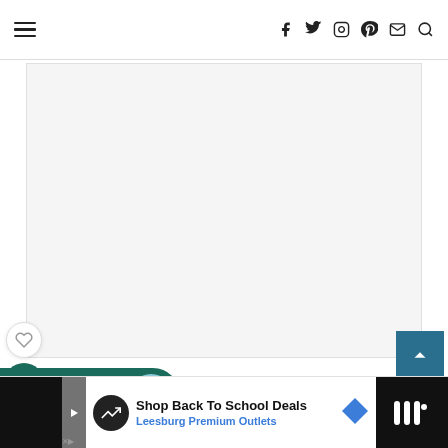Navigation bar with hamburger menu and social icons (Facebook, Twitter, Instagram, Pinterest, Email, Search)
[Figure (screenshot): White/light gray content area placeholder]
[Figure (illustration): Heart (like) button - circular white button with heart icon]
[Figure (illustration): Share button - dark teal circular button with share icon]
[Figure (screenshot): What's Next promotional card - dark teal pill shape showing Burj Khalifa Light Show with thumbnail]
[Figure (screenshot): Scroll to top button - dark blue square button with up arrow]
uses cookies to improve your experience. We'll assume you're ok with this, but you can opt-out if you wish.
[Figure (illustration): Accept button (teal) and Learn More button for cookie consent]
[Figure (screenshot): Bottom advertisement bar: Shop Back To School Deals - Leesburg Premium Outlets]